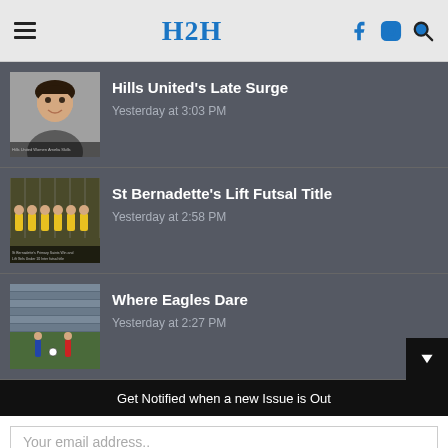H2H
Hills United's Late Surge — Yesterday at 3:03 PM
St Bernadette's Lift Futsal Title — Yesterday at 2:58 PM
Where Eagles Dare — Yesterday at 2:27 PM
Get Notified when a new Issue is Out
Your email address..
SUBSCRIBE